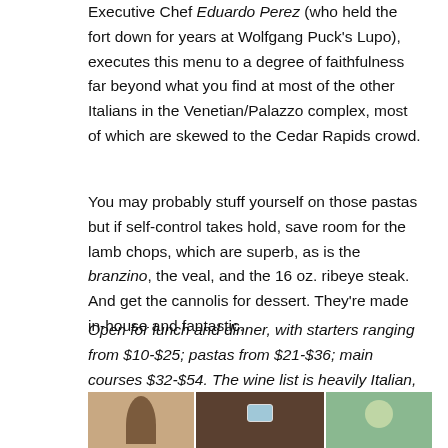Executive Chef Eduardo Perez (who held the fort down for years at Wolfgang Puck's Lupo), executes this menu to a degree of faithfulness far beyond what you find at most of the other Italians in the Venetian/Palazzo complex, most of which are skewed to the Cedar Rapids crowd.
You may probably stuff yourself on those pastas but if self-control takes hold, save room for the lamb chops, which are superb, as is the branzino, the veal, and the 16 oz. ribeye steak. And get the cannolis for dessert. They're made in-house and fantastic.
Open for lunch and dinner, with starters ranging from $10-$25; pastas from $21-$36; main courses $32-$54. The wine list is heavily Italian, organized by regions, and marked up far less than its competition.
[Figure (photo): A strip of three restaurant interior photos showing diners and decor in warm tones]